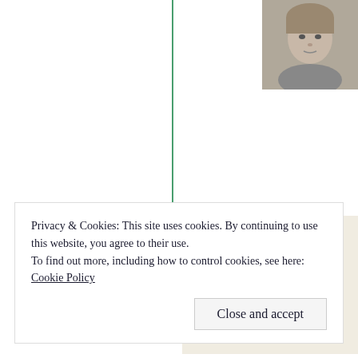[Figure (photo): Profile photo of a woman with blonde hair in the top right corner of the page]
[Figure (infographic): Advertisement box with light beige background showing partial text 'Professi... designed... than a w...' and a teal 'Explore options' button]
Privacy & Cookies: This site uses cookies. By continuing to use this website, you agree to their use.
To find out more, including how to control cookies, see here:
Cookie Policy
Close and accept